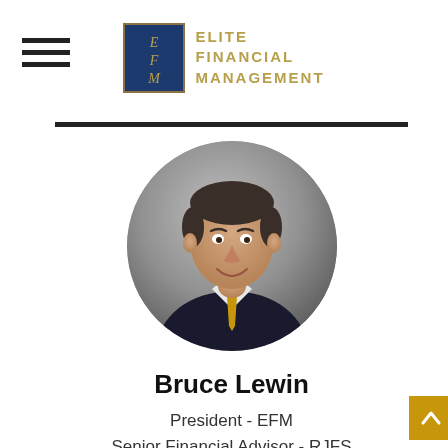[Figure (logo): Elite Financial Management logo with dark blue box containing EFM initials and gold text reading ELITE FINANCIAL MANAGEMENT]
[Figure (photo): Circular headshot photo of Bruce Lewin, a middle-aged man in a dark suit with a gold tie, smiling]
Bruce Lewin
President - EFM
Senior Financial Advisor - RJFS